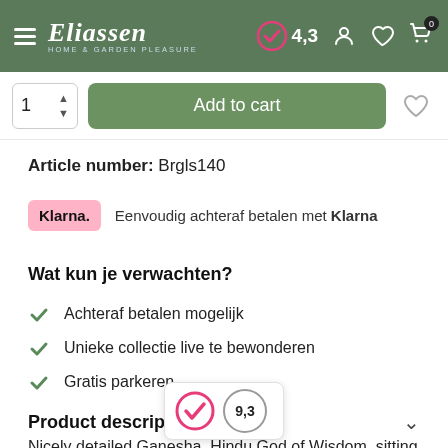Eliassen — Home & Garden Pleasure, rating 4.3
1  Add to cart
Article number: Brgls140
Klarna. Eenvoudig achteraf betalen met Klarna
Wat kun je verwachten?
Achteraf betalen mogelijk
Unieke collectie live te bewonderen
Gratis parkeren
Product description
Nicely detailed Ganesha, Hindu God of Wisdom, sitting in lotus. Made of cast stone in black brown. This is an extra large model; a whopping 100x82x140cm h... size: 140cm Opp size: 100 x 82cm Color: black / gray h... ast stone Suitable for